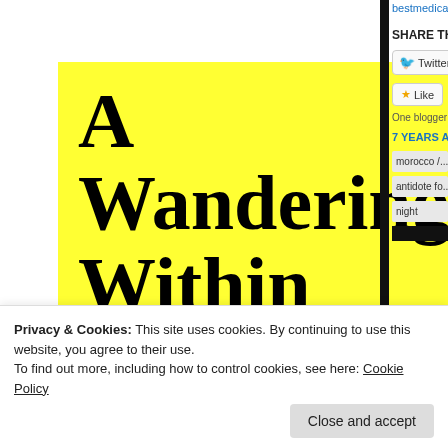[Figure (illustration): Yellow book cover for 'A Wandering Within: A mystical journey in the footsteps of Ibn Battutah' with navigation links: About, My Route, Wakhan Corridor, Musings]
bestmedica...
SHARE THIS
Twitter
Like
One blogger li...
7 YEARS AG...
morocco /...
antidote fo...
night
Privacy & Cookies: This site uses cookies. By continuing to use this website, you agree to their use.
To find out more, including how to control cookies, see here: Cookie Policy
Close and accept